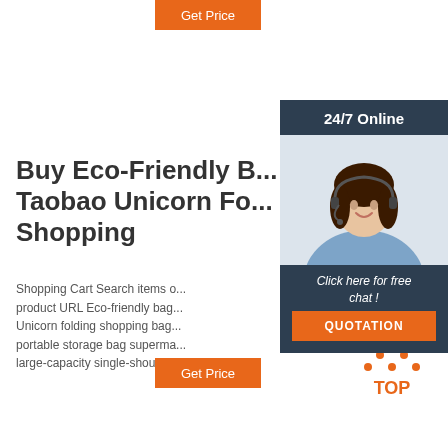Get Price
24/7 Online
[Figure (photo): Woman with headset smiling, customer support photo]
Buy Eco-Friendly B... Taobao Unicorn Fo... Shopping
Shopping Cart Search items o... product URL Eco-friendly bag... Unicorn folding shopping bag... portable storage bag superma... large-capacity single-shoulde...
Click here for free chat !
QUOTATION
Get Price
[Figure (logo): TOP badge logo with orange dots arranged as triangle above the word TOP in orange]